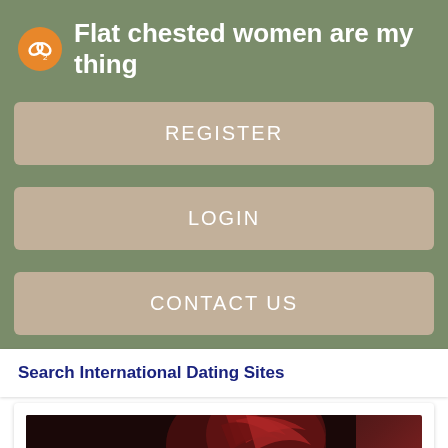Flat chested women are my thing
REGISTER
LOGIN
CONTACT US
Search International Dating Sites
[Figure (photo): Photo of a woman wearing a red feathered headpiece and dark hair, dark background]